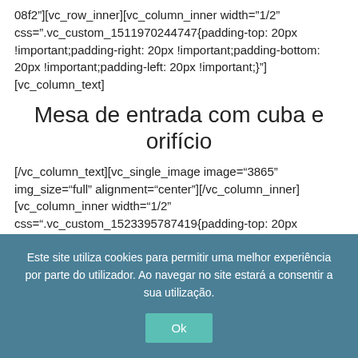08f2"][vc_row_inner][vc_column_inner width="1/2" css=".vc_custom_1511970244747{padding-top: 20px !important;padding-right: 20px !important;padding-bottom: 20px !important;padding-left: 20px !important;}"][vc_column_text]
Mesa de entrada com cuba e orifício
[/vc_column_text][vc_single_image image="3865" img_size="full" alignment="center"][/vc_column_inner][vc_column_inner width="1/2" css=".vc_custom_1523395787419{padding-top: 20px !important;padding-right: 20px !important;padding-bottom: 20px !important;padding-left: 20px !important;"}
Este site utiliza cookies para permitir uma melhor experiência por parte do utilizador. Ao navegar no site estará a consentir a sua utilização.